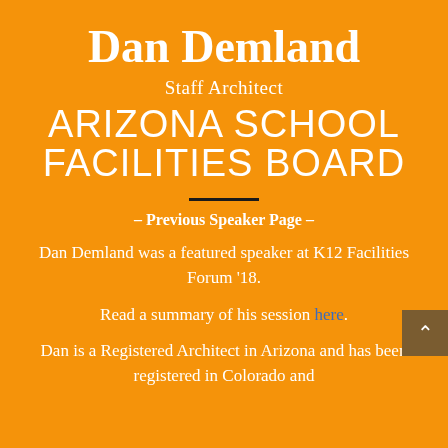Dan Demland
Staff Architect
ARIZONA SCHOOL FACILITIES BOARD
– Previous Speaker Page –
Dan Demland was a featured speaker at K12 Facilities Forum '18.
Read a summary of his session here.
Dan is a Registered Architect in Arizona and has been registered in Colorado and